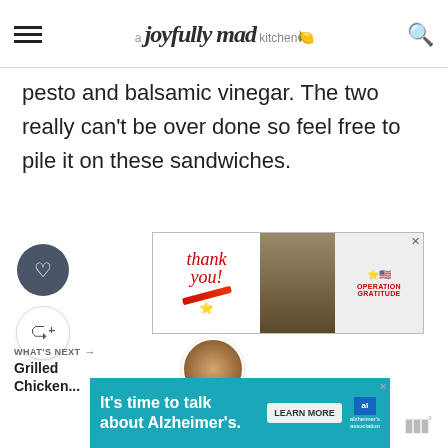a joyfully mad kitchen
pesto and balsamic vinegar. The two really can't be over done so feel free to pile it on these sandwiches.
[Figure (infographic): Advertisement banner: 'Thank you!' with pencil graphic, military photo, and Operation Gratitude logo]
[Figure (infographic): Heart/like button (dark circle with heart icon) and share button (circle with share icon)]
WHAT'S NEXT → Grilled Chicken...
[Figure (photo): Thumbnail circle image of grilled chicken]
[Figure (infographic): Advertisement: It's time to talk about Alzheimer's. with Learn More button and Alzheimer's Association logo]